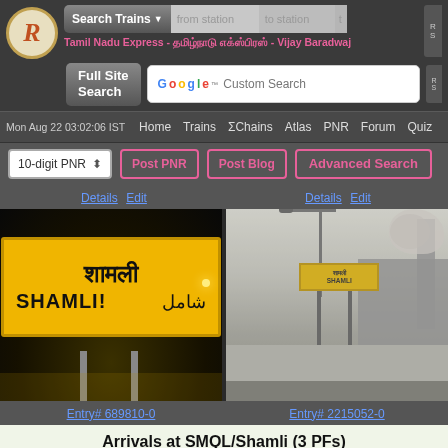Search Trains | from station | to station
Tamil Nadu Express - [Tamil/Devanagari text] - Vijay Baradwaj
Full Site Search | Google Custom Search
Mon Aug 22 03:02:06 IST  Home  Trains  ΣChains  Atlas  PNR  Forum  Quiz
10-digit PNR  Post PNR  Post Blog  Advanced Search
[Figure (photo): Night photo of yellow SMQL/Shamli station sign with Hindi text शामली, English SHAMLI, and Urdu شاملی on metal posts]
Details Edit
[Figure (photo): Daytime misty photo of Shamli station with yellow sign visible in distance, street lamp, chimney with smoke, and railway platform]
Details Edit
Entry# 689810-0
Entry# 2215052-0
Arrivals at SMQL/Shamli (3 PFs)
شاملی    शामली
Track: Single Electric-Line
Scroll to